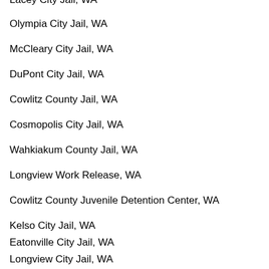Lacey City Jail, WA
Olympia City Jail, WA
McCleary City Jail, WA
DuPont City Jail, WA
Cowlitz County Jail, WA
Cosmopolis City Jail, WA
Wahkiakum County Jail, WA
Longview Work Release, WA
Cowlitz County Juvenile Detention Center, WA
Kelso City Jail, WA
Eatonville City Jail, WA
Longview City Jail, WA